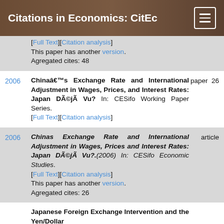Citations in Economics: CitEc
[Full Text][Citation analysis]
This paper has another version. Agregated cites: 48
2006 — Chinaâs Exchange Rate and International Adjustment in Wages, Prices, and Interest Rates: Japan DÃ©jÃ  Vu? In: CESifo Working Paper Series. [Full Text][Citation analysis] — paper 26
2006 — Chinas Exchange Rate and International Adjustment in Wages, Prices and Interest Rates: Japan DÃ©jÃ  Vu?.(2006) In: CESifo Economic Studies. [Full Text][Citation analysis]
This paper has another version. Agregated cites: 26 — article
Japanese Foreign Exchange Intervention and the Yen/Dollar